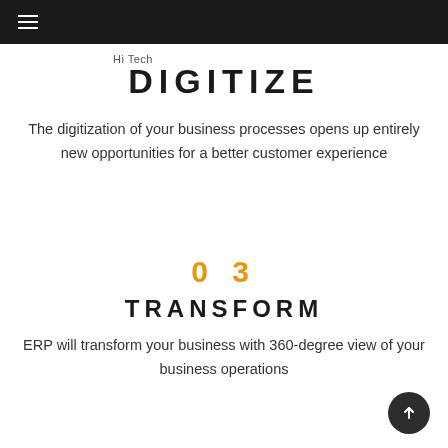≡  Hi Tech
DIGITIZE
The digitization of your business processes opens up entirely new opportunities for a better customer experience
03
TRANSFORM
ERP will transform your business with 360-degree view of your business operations